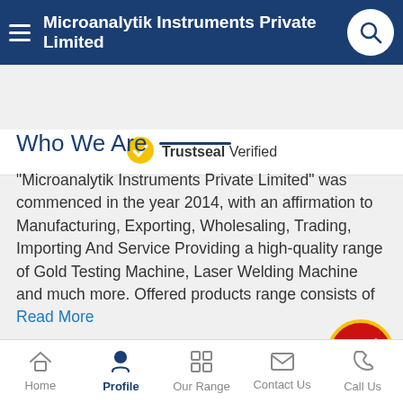Microanalytik Instruments Private Limited
[Figure (logo): Trustseal Verified badge with gold checkmark icon]
Who We Are
"Microanalytik Instruments Private Limited" was commenced in the year 2014, with an affirmation to Manufacturing, Exporting, Wholesaling, Trading, Importing And Service Providing a high-quality range of Gold Testing Machine, Laser Welding Machine and much more. Offered products range consists of Read More
Fact Sheet
[Figure (logo): Trust Seal indiamart badge — circular red and yellow logo with checkmark]
Home | Profile | Our Range | Contact Us | Call Us